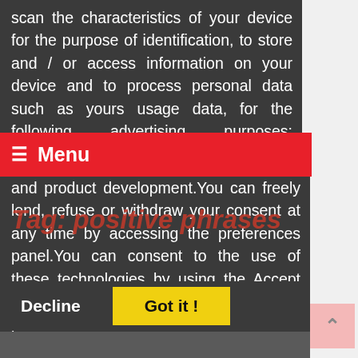scan the characteristics of your device for the purpose of identification, to store and / or access information on your device and to process personal data such as yours usage data, for the following advertising purposes: personalized ads and content, ad and
☰ Menu
Tag: positive phrases
and product development.You can freely lend, refuse or withdraw your consent at any time by accessing the preferences panel.You can consent to the use of these technologies by using the Accept button.Can we use your data to serve you personalized ads?
Read more about your privacy HERE
Decline   Got it !